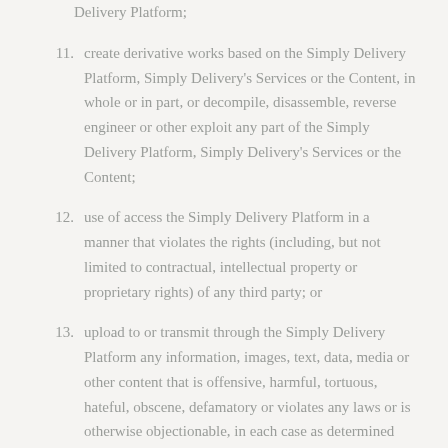host, or otherwise commercially exploit the Simply Delivery Platform;
11. create derivative works based on the Simply Delivery Platform, Simply Delivery's Services or the Content, in whole or in part, or decompile, disassemble, reverse engineer or other exploit any part of the Simply Delivery Platform, Simply Delivery's Services or the Content;
12. use of access the Simply Delivery Platform in a manner that violates the rights (including, but not limited to contractual, intellectual property or proprietary rights) of any third party; or
13. upload to or transmit through the Simply Delivery Platform any information, images, text, data, media or other content that is offensive, harmful, tortuous, hateful, obscene, defamatory or violates any laws or is otherwise objectionable, in each case as determined